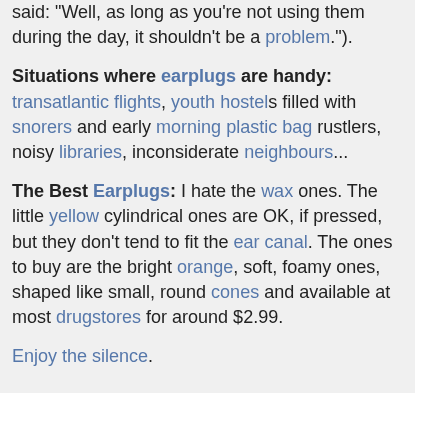said: "Well, as long as you're not using them during the day, it shouldn't be a problem.").
Situations where earplugs are handy: transatlantic flights, youth hostels filled with snorers and early morning plastic bag rustlers, noisy libraries, inconsiderate neighbours...
The Best Earplugs: I hate the wax ones. The little yellow cylindrical ones are OK, if pressed, but they don't tend to fit the ear canal. The ones to buy are the bright orange, soft, foamy ones, shaped like small, round cones and available at most drugstores for around $2.99.
Enjoy the silence.